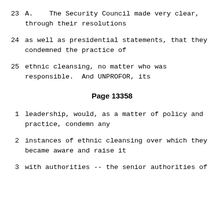23     A.   The Security Council made very clear, through their resolutions
24     as well as presidential statements, that they condemned the practice of
25     ethnic cleansing, no matter who was responsible.  And UNPROFOR, its
Page 13358
1      leadership, would, as a matter of policy and practice, condemn any
2      instances of ethnic cleansing over which they became aware and raise it
3      with authorities -- the senior authorities of